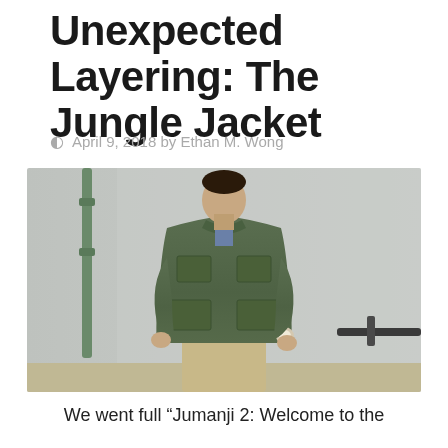Unexpected Layering: The Jungle Jacket
April 9, 2018 by Ethan M. Wong
[Figure (photo): A man wearing an olive green jungle/field jacket with multiple chest pockets, layered over a blue chambray shirt and dark tie, with khaki trousers. He is standing in front of a white brick wall with pipes and a railing, hands in pockets, watch visible.]
We went full “Jumanji 2: Welcome to the